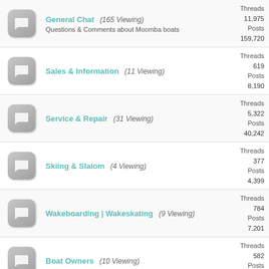General Chat (165 Viewing) - Questions & Comments about Moomba boats - Threads: 11,975 Posts: 159,720
Sales & Information (11 Viewing) - Threads: 619 Posts: 8,190
Service & Repair (31 Viewing) - Threads: 5,322 Posts: 40,242
Skiing & Slalom (4 Viewing) - Threads: 377 Posts: 4,399
Wakeboarding | Wakeskating (9 Viewing) - Threads: 784 Posts: 7,201
Boat Owners (10 Viewing) - Threads: 582 Posts: 5,916
WakeSurfing (23 Viewing) - Threads: 1,468 Posts: (cut off)